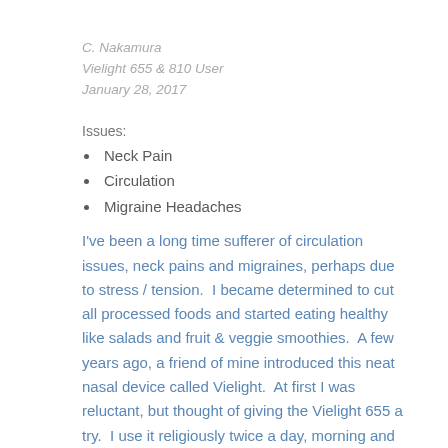C. Nakamura
Vielight 655 & 810 User
January 28, 2017
Issues:
Neck Pain
Circulation
Migraine Headaches
I've been a long time sufferer of circulation issues, neck pains and migraines, perhaps due to stress / tension.  I became determined to cut all processed foods and started eating healthy like salads and fruit & veggie smoothies.  A few years ago, a friend of mine introduced this neat nasal device called Vielight.  At first I was reluctant, but thought of giving the Vielight 655 a try.  I use it religiously twice a day, morning and night.   I started seeing my conditions improve only after a few weeks!   I was very